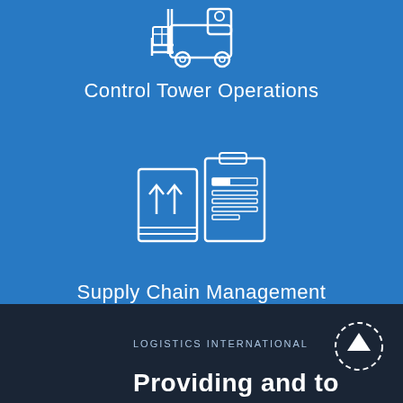[Figure (illustration): White forklift icon on blue background at top center]
Control Tower Operations
[Figure (illustration): White icons of a box with up arrows and a clipboard/checklist on blue background]
Supply Chain Management
LOGISTICS INTERNATIONAL
Providing and to...